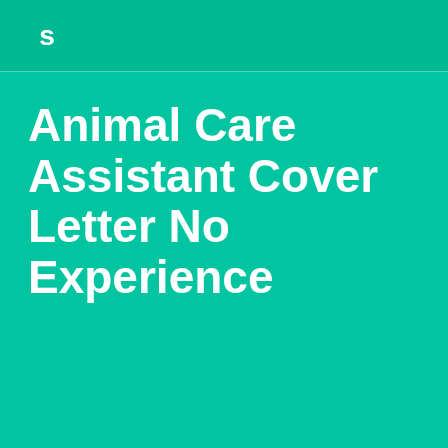S
Animal Care Assistant Cover Letter No Experience